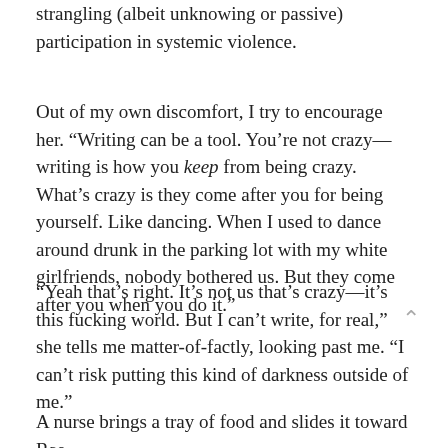strangling (albeit unknowing or passive) participation in systemic violence.
Out of my own discomfort, I try to encourage her. “Writing can be a tool. You’re not crazy—writing is how you keep from being crazy.  What’s crazy is they come after you for being yourself. Like dancing. When I used to dance around drunk in the parking lot with my white girlfriends, nobody bothered us. But they come after you when you do it.”
“Yeah that’s right. It’s not us that’s crazy—it’s this fucking world. But I can’t write, for real,” she tells me matter-of-factly, looking past me. “I can’t risk putting this kind of darkness outside of me.”
A nurse brings a tray of food and slides it toward Rae.